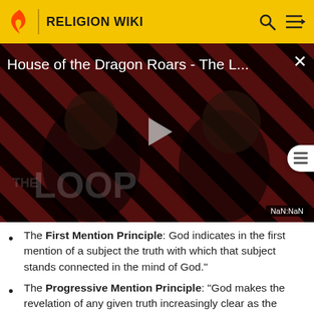RELIGION WIKI
[Figure (screenshot): Video thumbnail for 'House of the Dragon Roars - The L...' with red/black diagonal stripes background, two figures in foreground, play button in center, THE LOOP watermark, NaN:NaN timer]
The First Mention Principle: God indicates in the first mention of a subject the truth with which that subject stands connected in the mind of God.
The Progressive Mention Principle: "God makes the revelation of any given truth increasingly clear as the word proceeds to its consummation."